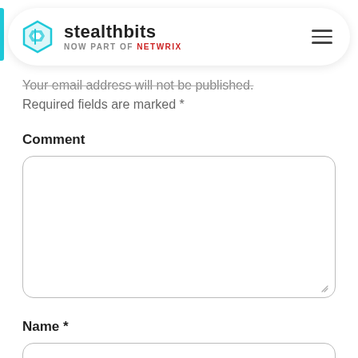[Figure (logo): Stealthbits logo with hexagonal icon, text 'stealthbits' and 'NOW PART OF netwrix' below, hamburger menu icon on the right, all inside a white rounded pill-shaped navigation bar]
Your email address will not be published. Required fields are marked *
Comment
[Figure (screenshot): Empty comment textarea with rounded corners and a resize handle at bottom-right]
Name *
[Figure (screenshot): Empty name input field with rounded corners, partially visible at bottom of page]